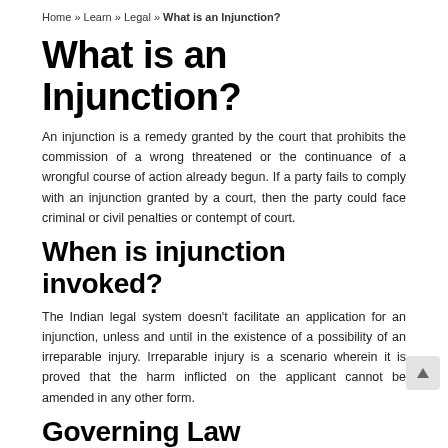Home » Learn » Legal » What is an Injunction?
What is an Injunction?
An injunction is a remedy granted by the court that prohibits the commission of a wrong threatened or the continuance of a wrongful course of action already begun. If a party fails to comply with an injunction granted by a court, then the party could face criminal or civil penalties or contempt of court.
When is injunction invoked?
The Indian legal system doesn't facilitate an application for an injunction, unless and until in the existence of a possibility of an irreparable injury. Irreparable injury is a scenario wherein it is proved that the harm inflicted on the applicant cannot be amended in any other form.
Governing Law